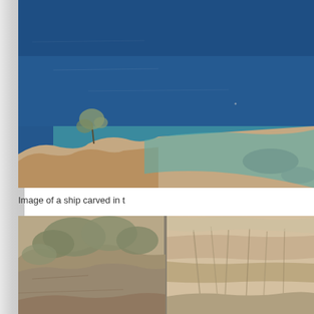[Figure (photo): Aerial view of deep blue sea water with rocky coastline in the lower left, small sparse tree visible on the rocky promontory, clear turquoise water near the rocks]
Image of a ship carved in t
[Figure (photo): Rocky cliff face with shrubs and vegetation growing on and around the rocks, showing ancient carved stone surface]